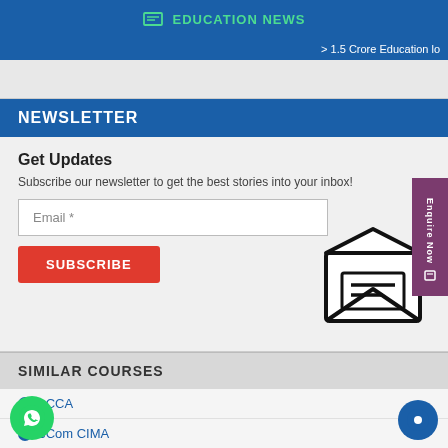EDUCATION NEWS
> 1.5 Crore Education lo
NEWSLETTER
Get Updates
Subscribe our newsletter to get the best stories into your inbox!
Email *
SUBSCRIBE
[Figure (illustration): Open envelope icon with letter inside]
SIMILAR COURSES
ACCA
BCom CIMA